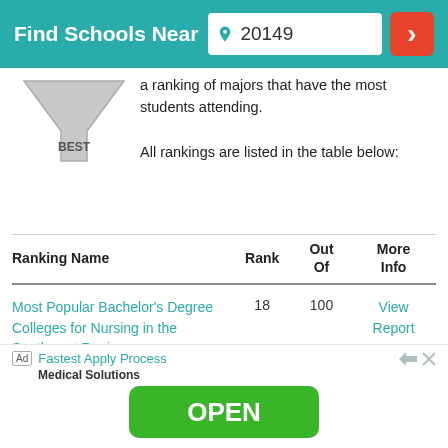Find Schools Near 20149
[Figure (illustration): Funnel/filter graphic with 'BEST' label at bottom]
a ranking of majors that have the most students attending. All rankings are listed in the table below:
| Ranking Name | Rank | Out Of | More Info |
| --- | --- | --- | --- |
| Most Popular Bachelor's Degree Colleges for Nursing in the Southwest Region | 18 | 100 | View Report |
Ad  Fastest Apply Process  Medical Solutions  OPEN